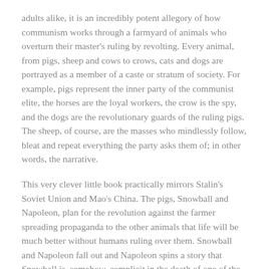adults alike, it is an incredibly potent allegory of how communism works through a farmyard of animals who overturn their master's ruling by revolting. Every animal, from pigs, sheep and cows to crows, cats and dogs are portrayed as a member of a caste or stratum of society. For example, pigs represent the inner party of the communist elite, the horses are the loyal workers, the crow is the spy, and the dogs are the revolutionary guards of the ruling pigs. The sheep, of course, are the masses who mindlessly follow, bleat and repeat everything the party asks them of; in other words, the narrative.
This very clever little book practically mirrors Stalin's Soviet Union and Mao's China. The pigs, Snowball and Napoleon, plan for the revolution against the farmer spreading propaganda to the other animals that life will be much better without humans ruling over them. Snowball and Napoleon fall out and Napoleon spins a story that Snowball is, somehow, complicit in the death of one of the other animals because of his 'treachery' during a skirmish with the local farmers that went all wrong. Quotas and yields drop off to the